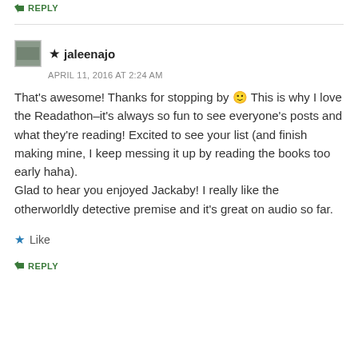↳ REPLY
★ jaleenajo
APRIL 11, 2016 AT 2:24 AM
That's awesome! Thanks for stopping by 🙂 This is why I love the Readathon–it's always so fun to see everyone's posts and what they're reading! Excited to see your list (and finish making mine, I keep messing it up by reading the books too early haha).
Glad to hear you enjoyed Jackaby! I really like the otherworldly detective premise and it's great on audio so far.
★ Like
↳ REPLY